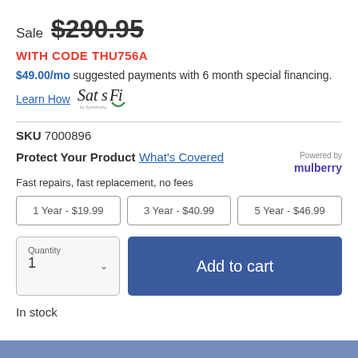Sale $290.95 (strikethrough)
WITH CODE THU756A
$49.00/mo suggested payments with 6 month special financing. Learn How [SatisFi logo]
SKU 7000896
Protect Your Product What's Covered — Fast repairs, fast replacement, no fees — Powered by mulberry
1 Year - $19.99 | 3 Year - $40.99 | 5 Year - $46.99
Quantity 1 | Add to cart
In stock